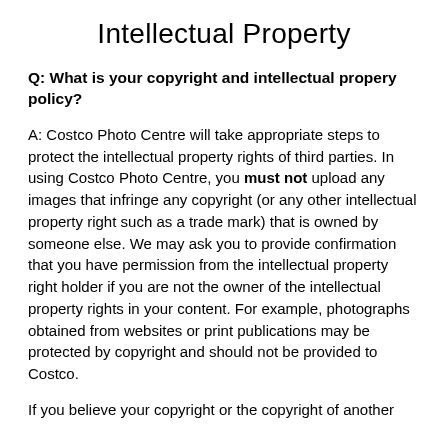Intellectual Property
Q: What is your copyright and intellectual propery policy?
A: Costco Photo Centre will take appropriate steps to protect the intellectual property rights of third parties. In using Costco Photo Centre, you must not upload any images that infringe any copyright (or any other intellectual property right such as a trade mark) that is owned by someone else. We may ask you to provide confirmation that you have permission from the intellectual property right holder if you are not the owner of the intellectual property rights in your content. For example, photographs obtained from websites or print publications may be protected by copyright and should not be provided to Costco.
If you believe your copyright or the copyright of another